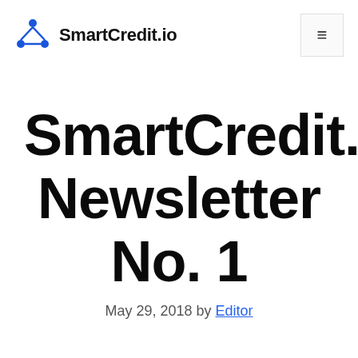SmartCredit.io
SmartCredit.io Newsletter No. 1
May 29, 2018 by Editor